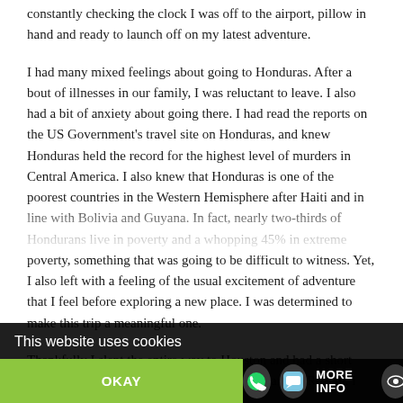constantly checking the clock I was off to the airport, pillow in hand and ready to launch off on my latest adventure.
I had many mixed feelings about going to Honduras. After a bout of illnesses in our family, I was reluctant to leave. I also had a bit of anxiety about going there. I had read the reports on the US Government's travel site on Honduras, and knew Honduras held the record for the highest level of murders in Central America. I also knew that Honduras is one of the poorest countries in the Western Hemisphere after Haiti and in line with Bolivia and Guyana. In fact, nearly two-thirds of Hondurans live in poverty and a whopping 45% in extreme poverty, something that was going to be difficult to witness. Yet, I also left with a feeling of the usual excitement of adventure that I feel before exploring a new place. I was determined to make this trip a meaningful one.
Thankfully I slept the entire way to Houston and had a short layover before boarding the tourist-packed plane to Roatan. I was [passengers on the flight to] there were...
This website uses cookies